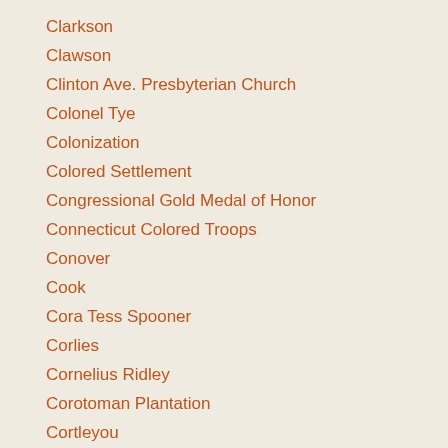Clarkson
Clawson
Clinton Ave. Presbyterian Church
Colonel Tye
Colonization
Colored Settlement
Congressional Gold Medal of Honor
Connecticut Colored Troops
Conover
Cook
Cora Tess Spooner
Corlies
Cornelius Ridley
Corotoman Plantation
Cortleyou